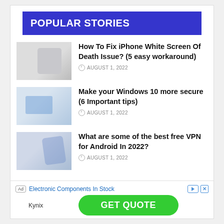POPULAR STORIES
How To Fix iPhone White Screen Of Death Issue? (5 easy workaround)
AUGUST 1, 2022
Make your Windows 10 more secure (6 Important tips)
AUGUST 1, 2022
What are some of the best free VPN for Android In 2022?
AUGUST 1, 2022
Ad  Electronic Components In Stock  Kynix  GET QUOTE